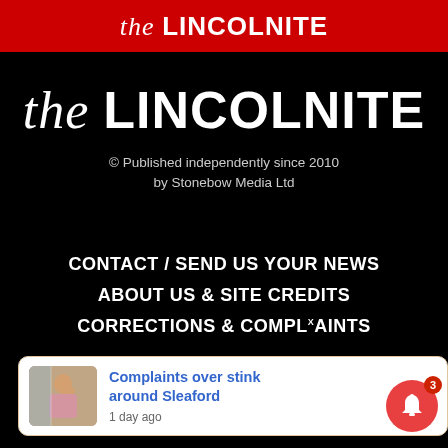the LINCOLNITE
the LINCOLNITE
© Published independently since 2010 by Stonebow Media Ltd
CONTACT / SEND US YOUR NEWS
ABOUT US & SITE CREDITS
CORRECTIONS & COMPLAINTS
[Figure (screenshot): Notification card showing article thumbnail with woman on phone, headline 'Complaints over stink around Sleaford', time '1 day ago']
[Figure (infographic): Red circular bell notification button with badge showing number 3]